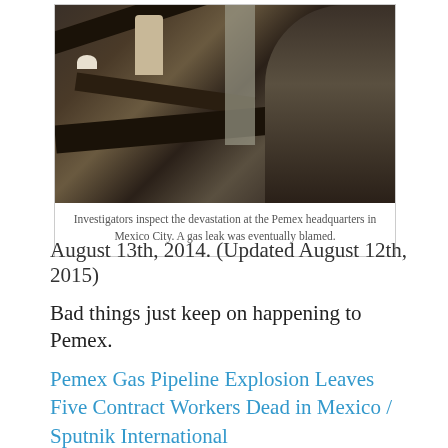[Figure (photo): Investigators inspect the devastation at the Pemex headquarters in Mexico City. Rubble, collapsed beams and debris are visible. A gas leak was eventually blamed.]
Investigators inspect the devastation at the Pemex headquarters in Mexico City. A gas leak was eventually blamed.
August 13th, 2014. (Updated August 12th, 2015)
Bad things just keep on happening to Pemex.
Pemex Gas Pipeline Explosion Leaves Five Contract Workers Dead in Mexico / Sputnik International